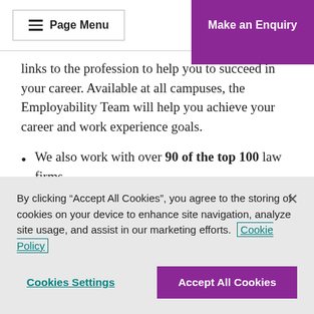Page Menu | Make an Enquiry
links to the profession to help you to succeed in your career. Available at all campuses, the Employability Team will help you achieve your career and work experience goals.
We also work with over 90 of the top 100 law firms.
Introductory offer
By clicking “Accept All Cookies”, you agree to the storing of cookies on your device to enhance site navigation, analyze site usage, and assist in our marketing efforts. Cookie Policy
Cookies Settings | Accept All Cookies